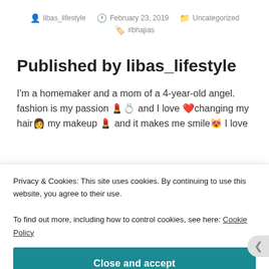libas_lifestyle  February 23, 2019  Uncategorized  #bhajias
Published by libas_lifestyle
I'm a homemaker and a mom of a 4-year-old angel. fashion is my passion 💄💍 and I love ❤️changing my hair👩 my makeup 💄 and it makes me smile😻 I love
Privacy & Cookies: This site uses cookies. By continuing to use this website, you agree to their use.
To find out more, including how to control cookies, see here: Cookie Policy
Close and accept